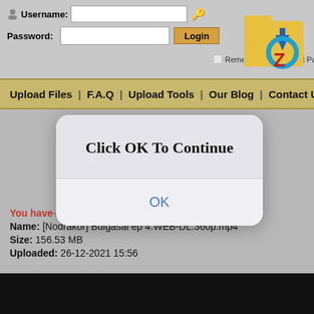[Figure (screenshot): Website login form with username and password fields and Login button]
Username:
Password:
Remember Me | Forgot Password?
[Figure (logo): Zip file download site logo with folder and Z icon]
Upload Files | F.A.Q | Upload Tools | Our Blog | Contact Us
[Figure (screenshot): Modal dialog box with text Click OK To Continue and OK link]
Click OK To Continue
OK
You have requested the file:
Name: [Nodrakor] Bulgasal ep 4.WEB-DL.360p.mp4
Size: 156.53 MB
Uploaded: 26-12-2021 15:56